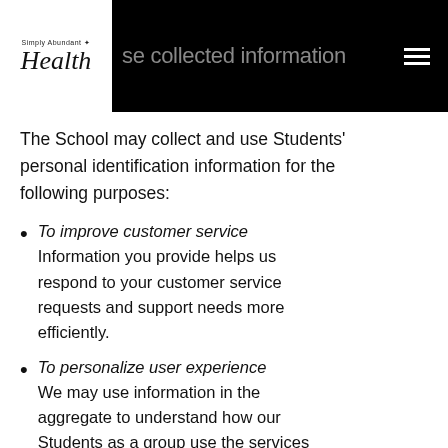How we use collected information
The School may collect and use Students' personal identification information for the following purposes:
To improve customer service Information you provide helps us respond to your customer service requests and support needs more efficiently.
To personalize user experience We may use information in the aggregate to understand how our Students as a group use the services and resources provided in our School.